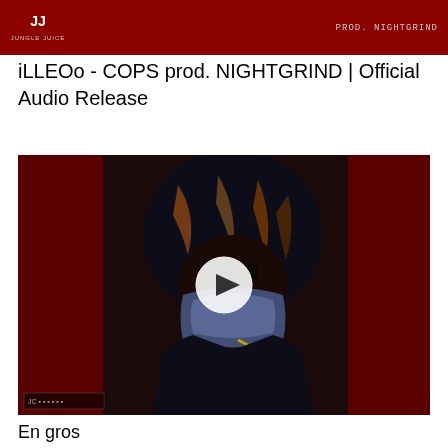[Figure (screenshot): Top thumbnail banner showing dark red background with Jungle Juice logo on left and 'prod. NIGHTGRIND' text on right]
iLLEOo - COPS prod. NIGHTGRIND | Official Audio Release
[Figure (screenshot): Video thumbnail showing artist with dreadlocks wearing a face covering against a red background with a play button overlay in the center]
En gros